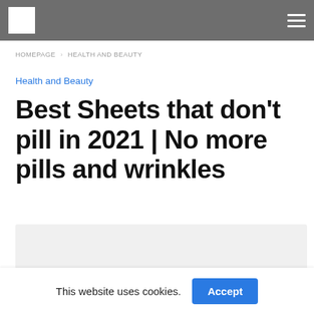[Logo] [Hamburger menu]
HOMEPAGE › HEALTH AND BEAUTY
Health and Beauty
Best Sheets that don't pill in 2021 | No more pills and wrinkles
[Figure (photo): Image placeholder for article content]
This website uses cookies. Accept